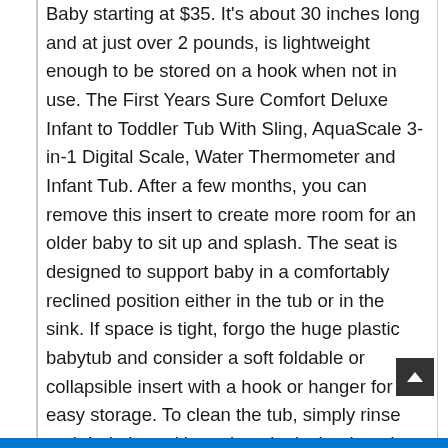Baby starting at $35. It's about 30 inches long and at just over 2 pounds, is lightweight enough to be stored on a hook when not in use. The First Years Sure Comfort Deluxe Infant to Toddler Tub With Sling, AquaScale 3-in-1 Digital Scale, Water Thermometer and Infant Tub. After a few months, you can remove this insert to create more room for an older baby to sit up and splash. The seat is designed to support baby in a comfortably reclined position either in the tub or in the sink. If space is tight, forgo the huge plastic babytub and consider a soft foldable or collapsible insert with a hook or hanger for easy storage. To clean the tub, simply rinse and drain it, and hang it up by its hook to dry. We researched the top-rated brands to help you choose the best one for your family. The educational health content on What To Expect is reviewed by our medical review board and team of experts to be up-to-date and in line with the latest evidence-based medical information and accepted